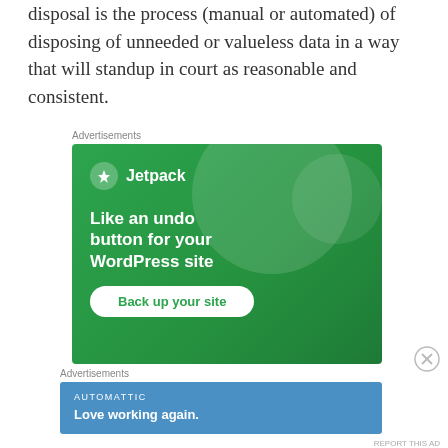disposal is the process (manual or automated) of disposing of unneeded or valueless data in a way that will standup in court as reasonable and consistent.
[Figure (other): Jetpack advertisement banner with green background. Shows Jetpack logo and text 'Like an undo button for your WordPress site' with a 'Back up your site' button.]
[Figure (other): Automattic advertisement banner with blue background. Shows 'AUTOMATTIC' label and text 'Love working again.']